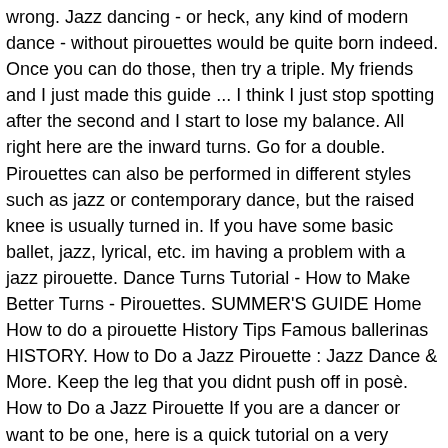wrong. Jazz dancing - or heck, any kind of modern dance - without pirouettes would be quite born indeed. Once you can do those, then try a triple. My friends and I just made this guide ... I think I just stop spotting after the second and I start to lose my balance. All right here are the inward turns. Go for a double. Pirouettes can also be performed in different styles such as jazz or contemporary dance, but the raised knee is usually turned in. If you have some basic ballet, jazz, lyrical, etc. im having a problem with a jazz pirouette. Dance Turns Tutorial - How to Make Better Turns - Pirouettes. SUMMER'S GUIDE Home How to do a pirouette History Tips Famous ballerinas HISTORY. How to Do a Jazz Pirouette : Jazz Dance & More. Keep the leg that you didnt push off in posè. How to Do a Jazz Pirouette If you are a dancer or want to be one, here is a quick tutorial on a very common dance turn . Pirouettes, or jazz turns with one leg extended outward, are fancy and beautiful, very ballerina-like in their smooth and graceful execution. Browse more videos. How to Do a Pirouette with Poise. Laissez votre